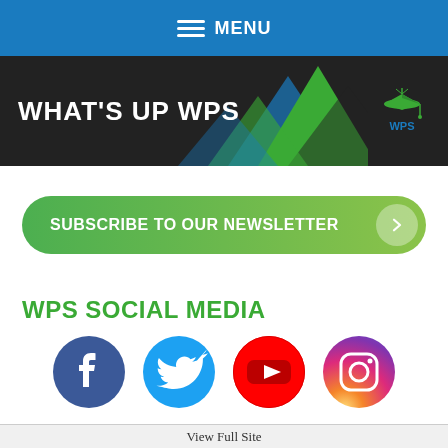MENU
[Figure (logo): What's Up WPS banner with WPS logo and triangular mountain graphic]
SUBSCRIBE TO OUR NEWSLETTER
WPS SOCIAL MEDIA
[Figure (infographic): Four social media icons: Facebook, Twitter, YouTube, Instagram]
View Full Site